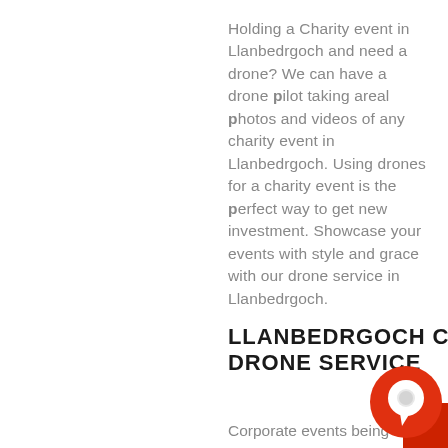Holding a Charity event in Llanbedrgoch and need a drone? We can have a drone pilot taking areal photos and videos of any charity event in Llanbedrgoch. Using drones for a charity event is the perfect way to get new investment. Showcase your events with style and grace with our drone service in Llanbedrgoch.
LLANBEDRGOCH CORPORATE DRONE SERVICE
Corporate events being hold
[Figure (illustration): Red circular chat/speech bubble icon in the bottom right corner]